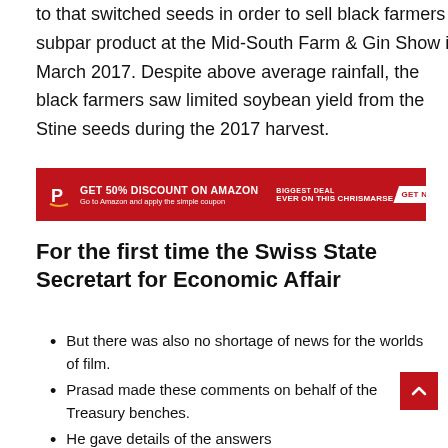to that switched seeds in order to sell black farmers a subpar product at the Mid-South Farm & Gin Show in March 2017. Despite above average rainfall, the black farmers saw limited soybean yield from the Stine seeds during the 2017 harvest.
[Figure (infographic): Red advertisement banner: GET 50% DISCOUNT ON AMAZON. Go to Amazon and apply the simple coupon. BIGGEST DEAL EVER ON THIS CHRISMARSE. GET NOW button with Christmas tree illustration.]
For the first time the Swiss State Secretart for Economic Affair
But there was also no shortage of news for the worlds of film.
Prasad made these comments on behalf of the Treasury benches.
He gave details of the answers provided Defence.
The government has been forthcoming in